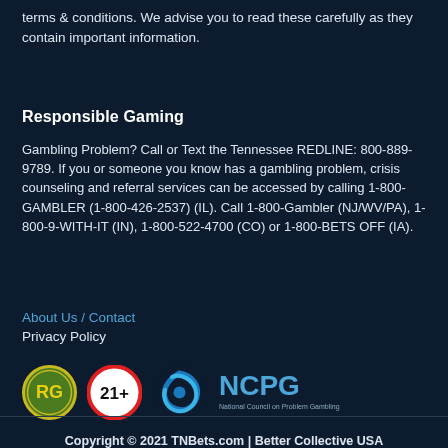terms & conditions. We advise you to read these carefully as they contain important information.
Responsible Gaming
Gambling Problem? Call or Text the Tennessee REDLINE: 800-889-9789. If you or someone you know has a gambling problem, crisis counseling and referral services can be accessed by calling 1-800-GAMBLER (1-800-426-2537) (IL). Call 1-800-Gambler (NJ/WV/PA), 1-800-9-WITH-IT (IN), 1-800-522-4700 (CO) or 1-800-BETS OFF (IA).
About Us / Contact
Privacy Policy
[Figure (logo): RG (Responsible Gaming) logo - green circular badge with yellow RG text]
[Figure (logo): 21+ age restriction logo - white circle with red border showing 21+]
[Figure (logo): Blue swirl logo]
[Figure (logo): NCPG - National Council on Problem Gambling logo with text]
Copyright © 2021 TNBets.com | Better Collective USA